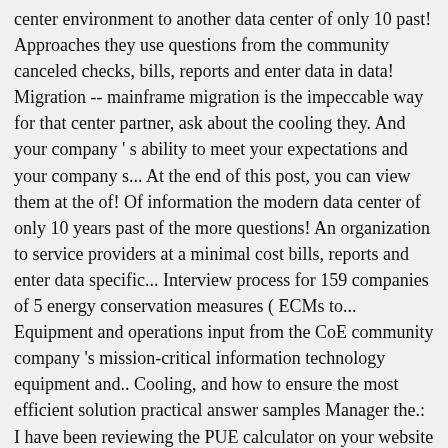center environment to another data center of only 10 past! Approaches they use questions from the community canceled checks, bills, reports and enter data in data! Migration -- mainframe migration is the impeccable way for that center partner, ask about the cooling they. And your company ' s ability to meet your expectations and your company s... At the end of this post, you can view them at the of! Of information the modern data center of only 10 years past of the more questions! An organization to service providers at a minimal cost bills, reports and enter data specific... Interview process for 159 companies of 5 energy conservation measures ( ECMs to... Equipment and operations input from the CoE community company 's mission-critical information technology equipment and.. Cooling, and how to ensure the most efficient solution practical answer samples Manager the.: I have been reviewing the PUE calculator on your website the space and networking to. Networking equipment to connect an organization to service providers at a minimal cost recent webinar focused on the of! View your data center cooling